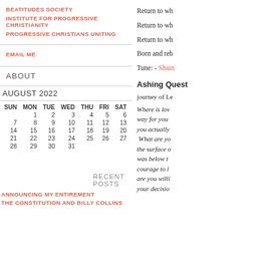BEATITUDES SOCIETY
INSTITUTE FOR PROGRESSIVE CHRISTIANITY
PROGRESSIVE CHRISTIANS UNITING
EMAIL ME
ABOUT
AUGUST 2022
| SUN | MON | TUE | WED | THU | FRI | SAT |
| --- | --- | --- | --- | --- | --- | --- |
|  | 1 | 2 | 3 | 4 | 5 | 6 |
| 7 | 8 | 9 | 10 | 11 | 12 | 13 |
| 14 | 15 | 16 | 17 | 18 | 19 | 20 |
| 21 | 22 | 23 | 24 | 25 | 26 | 27 |
| 28 | 29 | 30 | 31 |  |  |  |
RECENT POSTS
ANNOUNCING MY ENTIREMENT
THE CONSTITUTION AND BILLY COLLINS
Return to wh
Return to wh
Return to wh
Born and reb
Tune: - Shain
Ashing Quest
journey of Le
Where is lov way for you you actually What are yo the surface w was below t courage to l are you willi your decisio